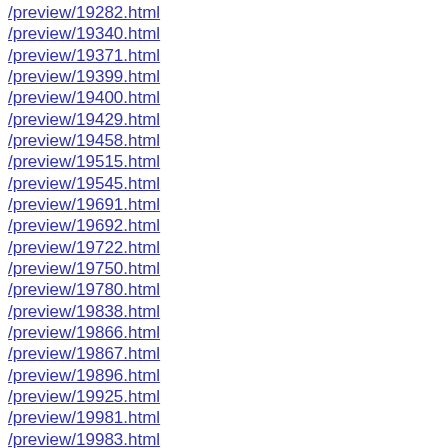/preview/19282.html
/preview/19340.html
/preview/19371.html
/preview/19399.html
/preview/19400.html
/preview/19429.html
/preview/19458.html
/preview/19515.html
/preview/19545.html
/preview/19691.html
/preview/19692.html
/preview/19722.html
/preview/19750.html
/preview/19780.html
/preview/19838.html
/preview/19866.html
/preview/19867.html
/preview/19896.html
/preview/19925.html
/preview/19981.html
/preview/19983.html
/preview/20039.html
/preview/20052.html
/preview/20108.html
/preview/20118.html